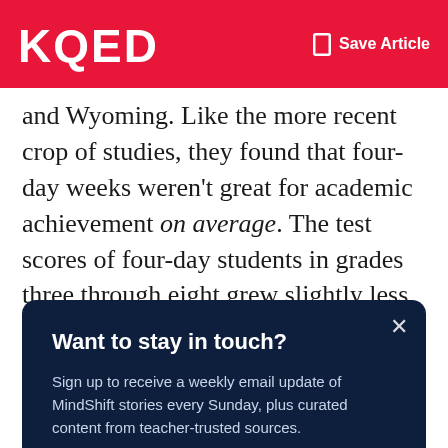KQED  Save Article
and Wyoming. Like the more recent crop of studies, they found that four-day weeks weren't great for academic achievement on average. The test scores of four-day students in grades three through eight grew slightly less during the school year compared to hundreds of thousands of students in those six states who continued to go to school
Want to stay in touch?
Sign up to receive a weekly email update of MindShift stories every Sunday, plus curated content from teacher-trusted sources.
Sign Up